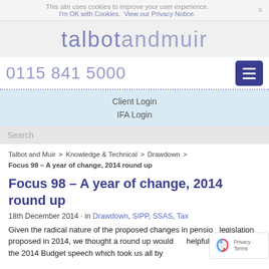This site uses cookies to improve your user experience. I'm OK with Cookies. View our Privacy Notice.
[Figure (logo): Talbot and Muir logo - talbotandmuir in large purple/indigo text]
0115 841 5000
Client Login
IFA Login
Search
Talbot and Muir > Knowledge & Technical > Drawdown > Focus 98 – A year of change, 2014 round up
Focus 98 – A year of change, 2014 round up
18th December 2014 · in Drawdown, SIPP, SSAS, Tax
Given the radical nature of the proposed changes in pension legislation proposed in 2014, we thought a round up would be helpful. March saw the 2014 Budget speech which took us all by